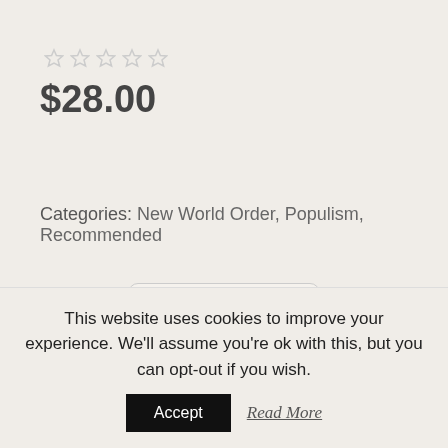[Figure (other): Five empty/unfilled star rating icons displayed in a row (light gray color)]
$28.00
Categories: New World Order, Populism, Recommended
[Figure (other): Quantity input box showing the number 1]
[Figure (other): Partially visible Add to Cart button (rounded, dark teal/steel blue color)]
This website uses cookies to improve your experience. We'll assume you're ok with this, but you can opt-out if you wish.
Accept
Read More